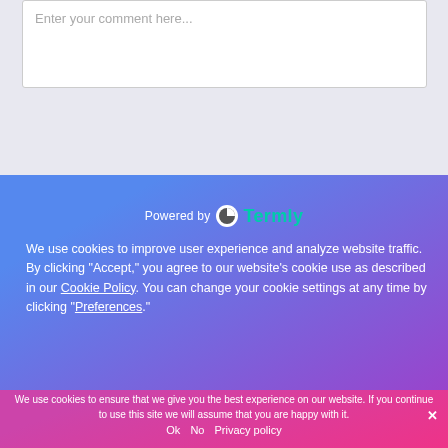[Figure (screenshot): Comment text area input box with placeholder text 'Enter your comment here...' on a light grey background]
[Figure (logo): Powered by Termly logo with circular icon and teal Termly text on blue/purple gradient background]
We use cookies to improve user experience and analyze website traffic. By clicking “Accept,” you agree to our website’s cookie use as described in our Cookie Policy. You can change your cookie settings at any time by clicking “Preferences.”
We use cookies to ensure that we give you the best experience on our website. If you continue to use this site we will assume that you are happy with it.
Ok   No   Privacy policy